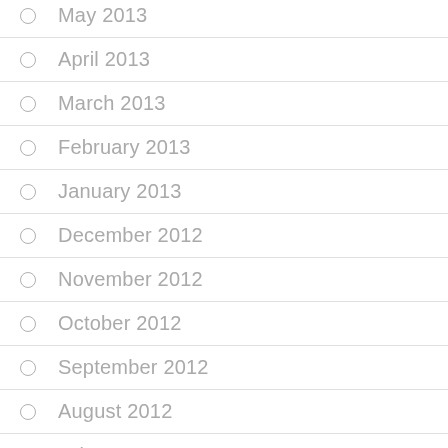May 2013
April 2013
March 2013
February 2013
January 2013
December 2012
November 2012
October 2012
September 2012
August 2012
July 2012